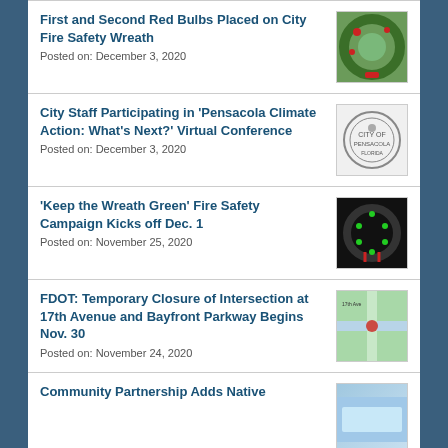First and Second Red Bulbs Placed on City Fire Safety Wreath
Posted on: December 3, 2020
[Figure (photo): Photo of a green holiday wreath with red decorations on a city display]
City Staff Participating in 'Pensacola Climate Action: What's Next?' Virtual Conference
Posted on: December 3, 2020
[Figure (logo): City of Pensacola official seal/logo]
'Keep the Wreath Green' Fire Safety Campaign Kicks off Dec. 1
Posted on: November 25, 2020
[Figure (photo): Photo of a dark wreath with green and red lights]
FDOT: Temporary Closure of Intersection at 17th Avenue and Bayfront Parkway Begins Nov. 30
Posted on: November 24, 2020
[Figure (map): Map showing intersection at 17th Avenue and Bayfront Parkway]
Community Partnership Adds Native